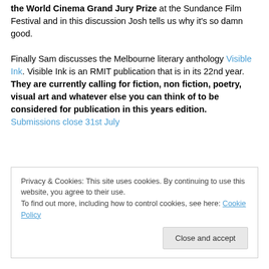Weaver and Joel Edgerton. Animal Kingdom has won the World Cinema Grand Jury Prize at the Sundance Film Festival and in this discussion Josh tells us why it's so damn good.

Finally Sam discusses the Melbourne literary anthology Visible Ink. Visible Ink is an RMIT publication that is in its 22nd year. They are currently calling for fiction, non fiction, poetry, visual art and whatever else you can think of to be considered for publication in this years edition. Submissions close 31st July
Privacy & Cookies: This site uses cookies. By continuing to use this website, you agree to their use.
To find out more, including how to control cookies, see here: Cookie Policy